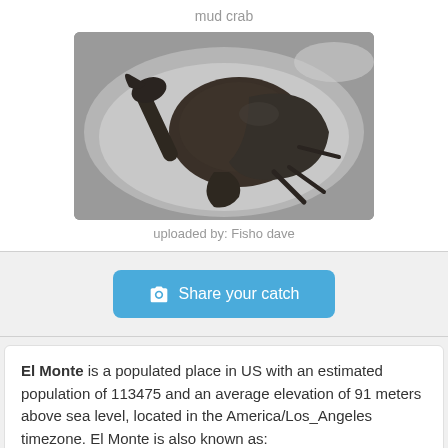mud crab
[Figure (photo): A mud crab sitting in a stainless steel kitchen sink, viewed from above. The crab is dark brown/black in color with claws visible.]
uploaded by: Fisho dave
Share your catch
El Monte is a populated place in US with an estimated population of 113475 and an average elevation of 91 meters above sea level, located in the America/Los_Angeles timezone. El Monte is also known as: